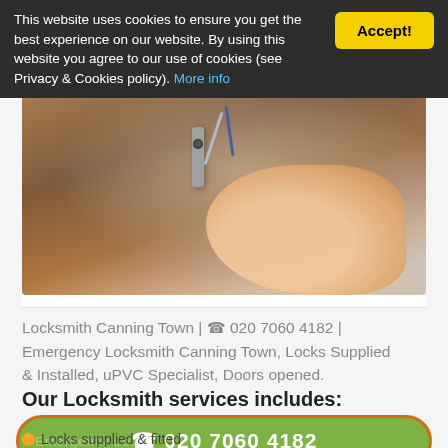This website uses cookies to ensure you get the best experience on our website. By using this website you agree to our use of cookies (see Privacy & Cookies policy). More info
[Figure (photo): Close-up photo of a hand using a lock-picking tool on a door lock]
Locksmith Canning Town | ☎ 020 7060 4182 | Emergency Locksmith Canning Town, Locks Supplied & Installed, uPVC Specialist, Doors opened.
Our Locksmith services includes:
☎ 020 7060 4182
Locks supplied & fitted